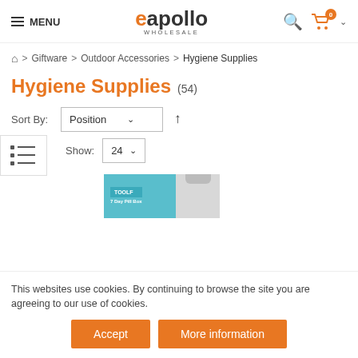MENU | eapollo WHOLESALE | [search] [cart 0]
Home > Giftware > Outdoor Accessories > Hygiene Supplies
Hygiene Supplies (54)
Sort By: Position ↑
Show: 24
[Figure (photo): Product thumbnail with teal/cyan background showing a packaged item with a hanger tab]
This websites use cookies. By continuing to browse the site you are agreeing to our use of cookies.
Accept | More information